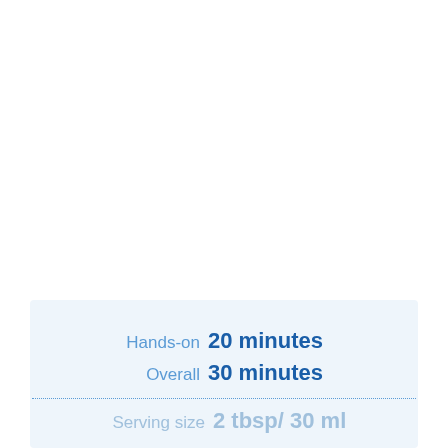Hands-on  20 minutes
Overall  30 minutes
Serving size  2 tbsp/ 30 ml